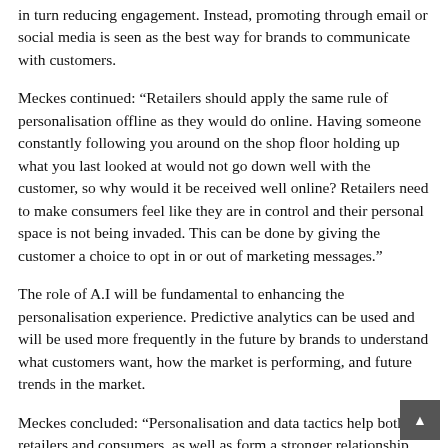in turn reducing engagement. Instead, promoting through email or social media is seen as the best way for brands to communicate with customers.
Meckes continued: “Retailers should apply the same rule of personalisation offline as they would do online. Having someone constantly following you around on the shop floor holding up what you last looked at would not go down well with the customer, so why would it be received well online? Retailers need to make consumers feel like they are in control and their personal space is not being invaded. This can be done by giving the customer a choice to opt in or out of marketing messages.”
The role of A.I will be fundamental to enhancing the personalisation experience. Predictive analytics can be used and will be used more frequently in the future by brands to understand what customers want, how the market is performing, and future trends in the market.
Meckes concluded: “Personalisation and data tactics help both retailers and consumers, as well as form a stronger relationship between the two groups by segmenting data and targeting it to the right audience. Once this relationship is formed, predictive analytics can change the customer experience by predicting what the customer wants before they even know themselves.”
-